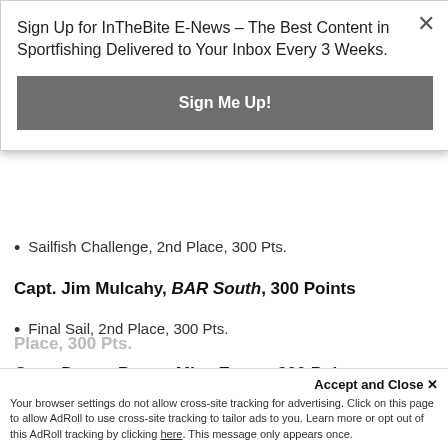Sign Up for InTheBite E-News – The Best Content in Sportfishing Delivered to Your Inbox Every 3 Weeks.
Sign Me Up!
Sailfish Challenge, 2nd Place, 300 Pts.
Capt. Jim Mulcahy, BAR South, 300 Points
Final Sail, 2nd Place, 300 Pts.
Capt. Danny Perna, Miss Emma, 300 Points
Epic Flight Academy Billfish Bash, 2nd Place, 300 Pts.
Capt. Newt Eagle, Toast, 300 Points
Accept and Close ✕
Your browser settings do not allow cross-site tracking for advertising. Click on this page to allow AdRoll to use cross-site tracking to tailor ads to you. Learn more or opt out of this AdRoll tracking by clicking here. This message only appears once.